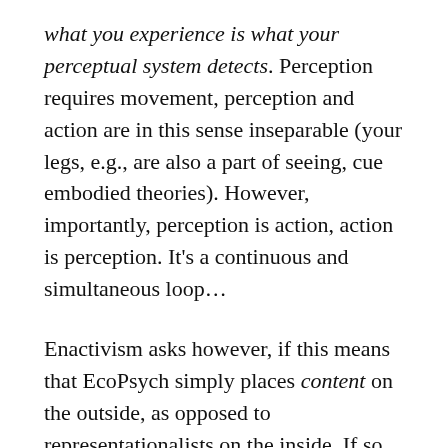what you experience is what your perceptual system detects. Perception requires movement, perception and action are in this sense inseparable (your legs, e.g., are also a part of seeing, cue embodied theories). However, importantly, perception is action, action is perception. It's a continuous and simultaneous loop...
Enactivism asks however, if this means that EcoPsych simply places content on the outside, as opposed to representationalists on the inside. If so, we are not really losing the dualistic consequences that believing in content brings with it.